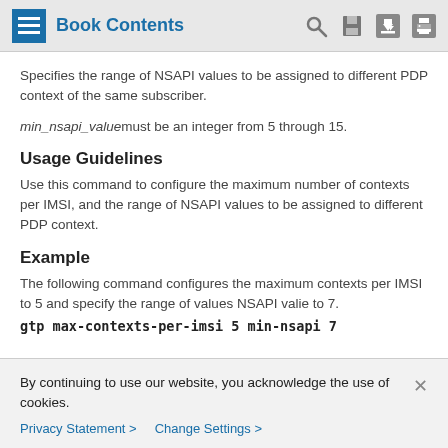Book Contents
Specifies the range of NSAPI values to be assigned to different PDP context of the same subscriber.
min_nsapi_value must be an integer from 5 through 15.
Usage Guidelines
Use this command to configure the maximum number of contexts per IMSI, and the range of NSAPI values to be assigned to different PDP context.
Example
The following command configures the maximum contexts per IMSI to 5 and specify the range of values NSAPI valie to 7.
gtp max-contexts-per-imsi 5 min-nsapi 7
By continuing to use our website, you acknowledge the use of cookies.
Privacy Statement > Change Settings >